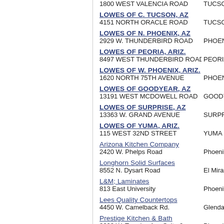| Name/Address | City | ST | ZIP |
| --- | --- | --- | --- |
| 1800 WEST VALENCIA ROAD | TUCSON | AZ | 8574 |
| LOWES OF C. TUCSON, AZ |  |  |  |
| 4151 NORTH ORACLE ROAD | TUCSON | AZ | 8570 |
| LOWES OF N. PHOENIX, AZ |  |  |  |
| 2929 W. THUNDERBIRD ROAD | PHOENIX | AZ | 8505 |
| LOWES OF PEORIA, ARIZ. |  |  |  |
| 8497 WEST THUNDERBIRD ROAD | PEORIA | AZ | 8538 |
| LOWES OF W. PHOENIX, ARIZ. |  |  |  |
| 1620 NORTH 75TH AVENUE | PHOENIX | AZ | 8503 |
| LOWES OF GOODYEAR, AZ |  |  |  |
| 13191 WEST MCDOWELL ROAD | GOODYEAR | AZ | 8533 |
| LOWES OF SURPRISE, AZ |  |  |  |
| 13363 W. GRAND AVENUE | SURPRISE | AZ | 8537 |
| LOWES OF YUMA, ARIZ. |  |  |  |
| 115 WEST 32ND STREET | YUMA | AZ | 8536 |
| Arizona Kitchen Company |  |  |  |
| 2420 W. Phelps Road | Phoenix | AZ | 8502 |
| Longhorn Solid Surfaces |  |  |  |
| 8552 N. Dysart Road | El Mirage | AZ | 8533 |
| L&M; Laminates |  |  |  |
| 813 East University | Phoenix | AZ | 8503 |
| Lees Quality Countertops |  |  |  |
| 4450 W. Camelback Rd. | Glendale | AZ | 8530 |
| Prestige Kitchen & Bath |  |  |  |
| 2602 W. Townley Ave Suite 2 | Phoenix | AZ | 8502 |